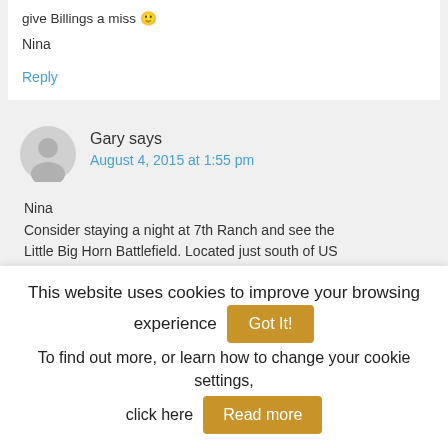give Billings a miss 🙂
Nina
Reply
Gary says
August 4, 2015 at 1:55 pm
Nina
Consider staying a night at 7th Ranch and see the Little Big Horn Battlefield. Located just south of US
This website uses cookies to improve your browsing experience  Got It!
To find out more, or learn how to change your cookie settings, click here  Read more